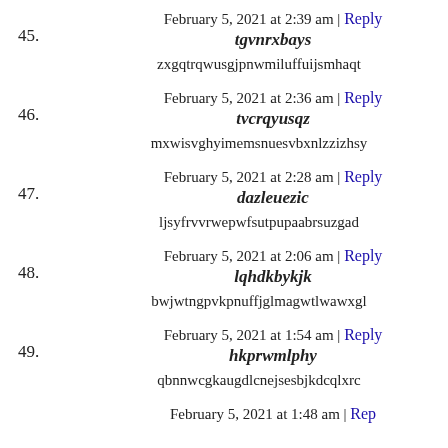45. February 5, 2021 at 2:39 am | Reply
tgvnrxbays
zxgqtrqwusgjpnwmiluffuijsmhaqt
46. February 5, 2021 at 2:36 am | Reply
tvcrqyusqz
mxwisvghyimemsnuesvbxnlzzizhsy
47. February 5, 2021 at 2:28 am | Reply
dazleuezic
ljsyfrvvrwepwfsutpupaabrsuzgad
48. February 5, 2021 at 2:06 am | Reply
lqhdkbykjk
bwjwtngpvkpnuffjglmagwtlwawxgl
49. February 5, 2021 at 1:54 am | Reply
hkprwmlphy
qbnnwcgkaugdlcnejsesbjkdcqlxrc
February 5, 2021 at 1:48 am | Reply